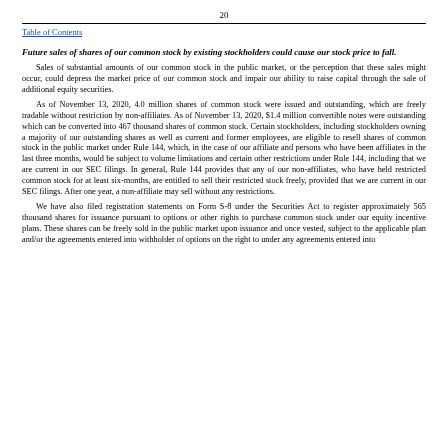20
Table of Contents
Future sales of shares of our common stock by existing stockholders could cause our stock price to fall.
Sales of substantial amounts of our common stock in the public market, or the perception that these sales might occur, could depress the market price of our common stock and impair our ability to raise capital through the sale of additional equity securities.
As of November 13, 2020, 4.0 million shares of common stock were issued and outstanding, which are freely tradable without restriction by non-affiliates. As of November 13, 2020, $1.4 million convertible notes were outstanding which can be converted into 467 thousand shares of common stock. Certain stockholders, including stockholders owning a majority of our outstanding shares as well as current and former employees, are eligible to resell shares of common stock in the public market under Rule 144, which, in the case of our affiliate and persons who have been affiliates in the last three months, would be subject to volume limitations and certain other restrictions under Rule 144, including that we are current in our SEC filings. In general, Rule 144 provides that any of our non-affiliates, who have held restricted common stock for at least six-months, are entitled to sell their restricted stock freely, provided that we are current in our SEC filings. After one year, a non-affiliate may sell without any restrictions.
We have also filed registration statements on Form S-8 under the Securities Act to register approximately 565 thousand shares for issuance pursuant to options or other rights to purchase common stock under our equity incentive plans. These shares can be freely sold in the public market upon issuance and once vested, subject to the applicable plan and/or the agreements entered into withholder of options on the right to under any agreements entered into